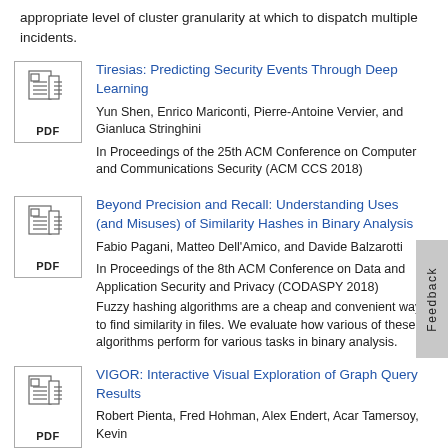appropriate level of cluster granularity at which to dispatch multiple incidents.
Tiresias: Predicting Security Events Through Deep Learning
Yun Shen, Enrico Mariconti, Pierre-Antoine Vervier, and Gianluca Stringhini
In Proceedings of the 25th ACM Conference on Computer and Communications Security (ACM CCS 2018)
Beyond Precision and Recall: Understanding Uses (and Misuses) of Similarity Hashes in Binary Analysis
Fabio Pagani, Matteo Dell'Amico, and Davide Balzarotti
In Proceedings of the 8th ACM Conference on Data and Application Security and Privacy (CODASPY 2018)
Fuzzy hashing algorithms are a cheap and convenient way to find similarity in files. We evaluate how various of these algorithms perform for various tasks in binary analysis.
VIGOR: Interactive Visual Exploration of Graph Query Results
Robert Pienta, Fred Hohman, Alex Endert, Acar Tamersoy, Kevin